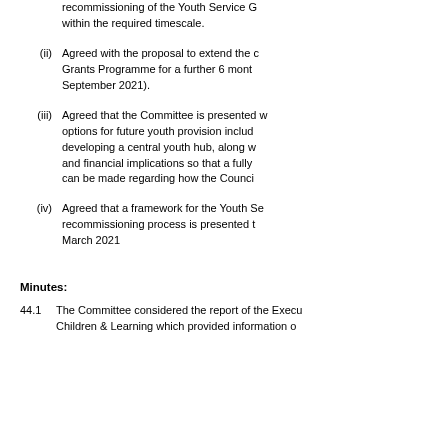recommissioning of the Youth Service G within the required timescale.
(ii) Agreed with the proposal to extend the c Grants Programme for a further 6 mont September 2021).
(iii) Agreed that the Committee is presented w options for future youth provision includ developing a central youth hub, along w and financial implications so that a fully can be made regarding how the Counci
(iv) Agreed that a framework for the Youth Se recommissioning process is presented t March 2021
Minutes:
44.1 The Committee considered the report of the Execu Children & Learning which provided information o